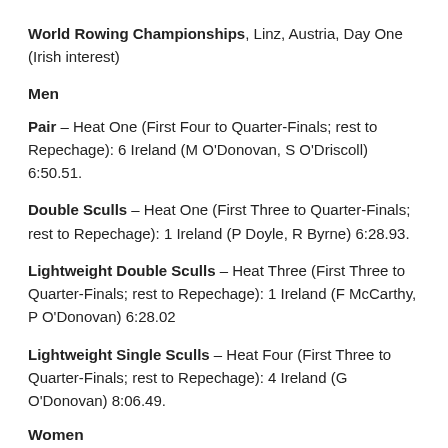World Rowing Championships, Linz, Austria, Day One (Irish interest)
Men
Pair – Heat One (First Four to Quarter-Finals; rest to Repechage): 6 Ireland (M O'Donovan, S O'Driscoll) 6:50.51.
Double Sculls – Heat One (First Three to Quarter-Finals; rest to Repechage): 1 Ireland (P Doyle, R Byrne) 6:28.93.
Lightweight Double Sculls – Heat Three (First Three to Quarter-Finals; rest to Repechage): 1 Ireland (F McCarthy, P O'Donovan) 6:28.02
Lightweight Single Sculls – Heat Four (First Three to Quarter-Finals; rest to Repechage): 4 Ireland (G O'Donovan) 8:06.49.
Women